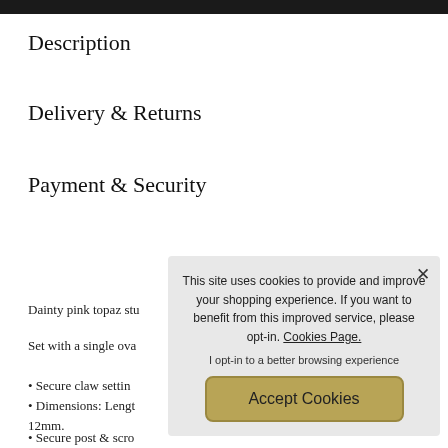Description
Delivery & Returns
Payment & Security
Dainty pink topaz stu…
Set with a single ova…
• Secure claw settin…
• Dimensions: Lengt… 12mm.
• Secure post & scro…
• Stamped "375" on…
• Free Gift Wrapping…
[Figure (other): Cookie consent overlay popup with text 'This site uses cookies to provide and improve your shopping experience. If you want to benefit from this improved service, please opt-in. Cookies Page.' with opt-in text and Accept Cookies button.]